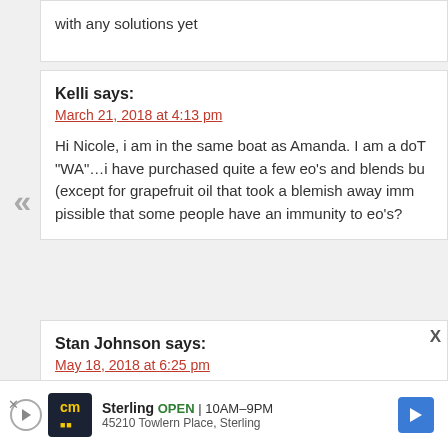with any solutions yet
Kelli says:
March 21, 2018 at 4:13 pm
Hi Nicole, i am in the same boat as Amanda. I am a doT... "WA"…i have purchased quite a few eo's and blends bu... (except for grapefruit oil that took a blemish away imm... pissible that some people have an immunity to eo's?
Stan Johnson says:
May 18, 2018 at 6:25 pm
I agree with some folks that mlm companies are just int... Personally I feel the mlm days of earning excessive ame... DWILLING. People need jobs period and ALL ml
[Figure (other): Advertisement bar: cm logo, Sterling OPEN 10AM-9PM, 45210 Towlern Place, Sterling, navigation arrow icon]